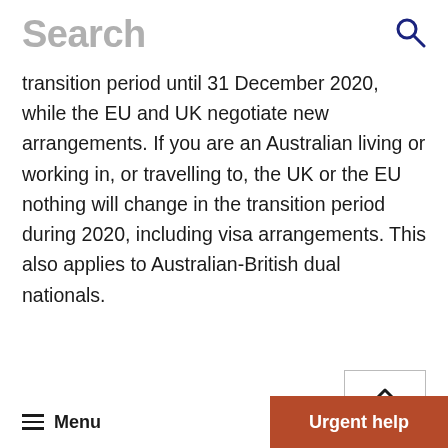Search
transition period until 31 December 2020, while the EU and UK negotiate new arrangements. If you are an Australian living or working in, or travelling to, the UK or the EU nothing will change in the transition period during 2020, including visa arrangements. This also applies to Australian-British dual nationals.
Read More >
Menu | Urgent help